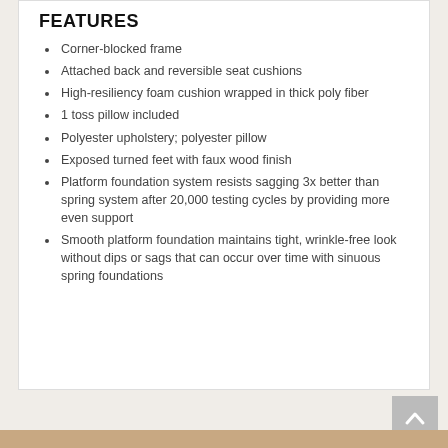FEATURES
Corner-blocked frame
Attached back and reversible seat cushions
High-resiliency foam cushion wrapped in thick poly fiber
1 toss pillow included
Polyester upholstery; polyester pillow
Exposed turned feet with faux wood finish
Platform foundation system resists sagging 3x better than spring system after 20,000 testing cycles by providing more even support
Smooth platform foundation maintains tight, wrinkle-free look without dips or sags that can occur over time with sinuous spring foundations